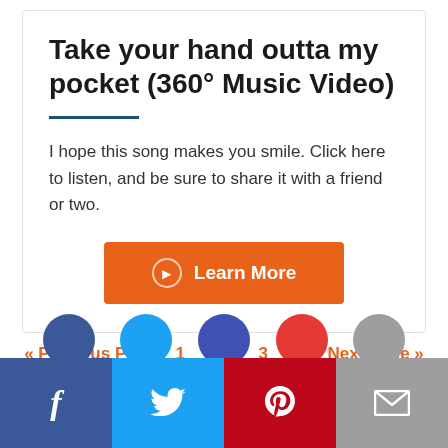Take your hand outta my pocket (360° Music Video)
I hope this song makes you smile. Click here to listen, and be sure to share it with a friend or two.
Learn More
« Previous Page   1   2   3   4   Next Page »